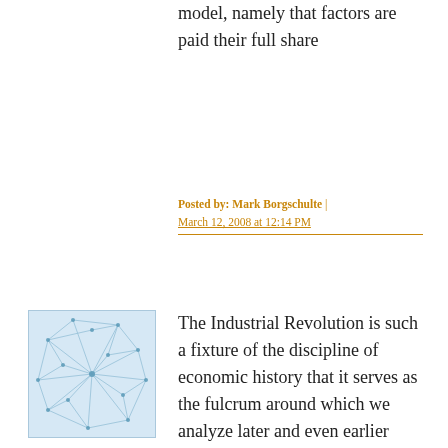model, namely that factors are paid their full share
Posted by: Mark Borgschulte | March 12, 2008 at 12:14 PM
[Figure (illustration): Small square avatar image with blue-tinted abstract network/neural pattern on light background]
The Industrial Revolution is such a fixture of the discipline of economic history that it serves as the fulcrum around which we analyze later and even earlier growth phenomena in a diverse array of nations. It occupies a singular place in the collective imagination of